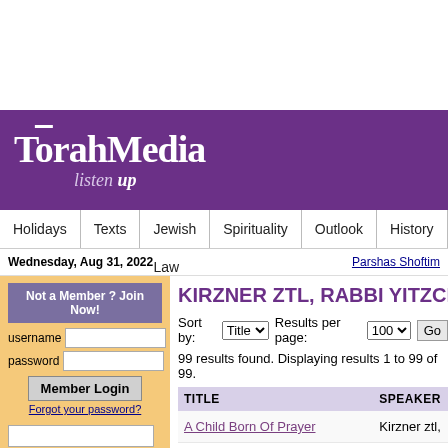TorahMedia listen up
Holidays | Texts | Jewish Law | Spirituality | Outlook | History | Music
Wednesday, Aug 31, 2022
Parshas Shoftim
KIRZNER ZTL, RABBI YITZCHAK
Sort by: Title   Results per page: 100   Go
99 results found. Displaying results 1 to 99 of 99.
| TITLE | SPEAKER |
| --- | --- |
| A Child Born Of Prayer | Kirzner ztl, |
| A Healthy Approach To Barriers | Kirzner ztl, |
Not a Member? Join Now!
username
password
Member Login
Forgot your password?
search
ADVANCED SEARCH
Join Now
Free Lectures